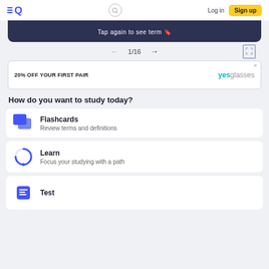Quizlet — Log in | Sign up
Tap again to see term 🔖
← 1/16 →
[Figure (other): Advertisement banner: 20% OFF YOUR FIRST PAIR yesglasses]
How do you want to study today?
Flashcards — Review terms and definitions
Learn — Focus your studying with a path
Test